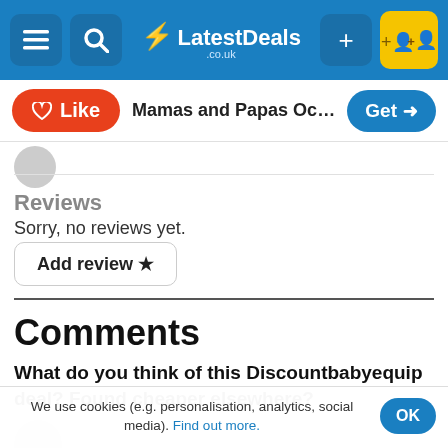LatestDeals.co.uk navigation bar
Like  Mamas and Papas Ocarro I-L...  Get
Reviews
Sorry, no reviews yet.
Add review ★
Comments
What do you think of this Discountbabyequip deal? Found cheaper elsewhere?
We use cookies (e.g. personalisation, analytics, social media). Find out more.